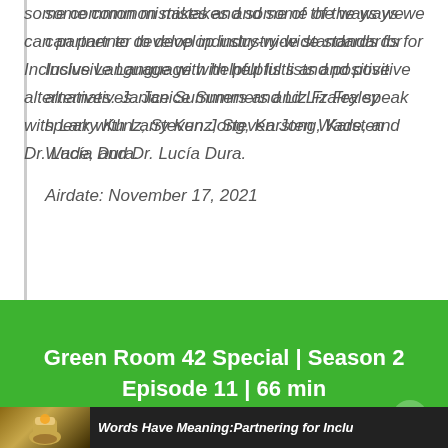some common mistakes and some of the ways we can partner to develop industry-wide standards for Inclusive Language with helpful lists and positive alternatives. Janice Summers and Liz Fraley speak with Larry Kunz, Steven Jong, Karsten Wade, and Dr. Lucía Dura.
Airdate: November 17, 2021
Green Room 42 Special | Season 2 Episode 11 | 66 min
Words Have Meaning:Partnering for Inclu...